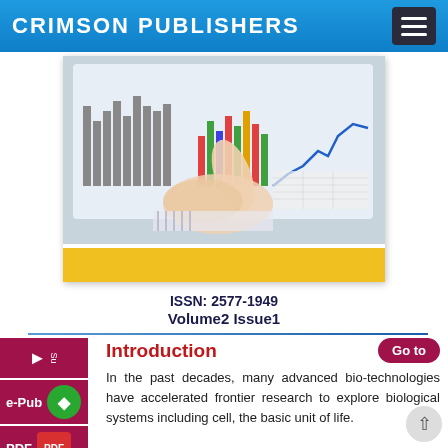CRIMSON PUBLISHERS
[Figure (photo): A hand pointing at a computer monitor displaying financial charts and graphs including bar charts, line charts, and spreadsheet data. A yellow strip appears at the bottom of the cover image.]
ISSN: 2577-1949
Volume2 Issue1
Introduction
In the past decades, many advanced bio-technologies have accelerated frontier research to explore biological systems including cell, the basic unit of life.